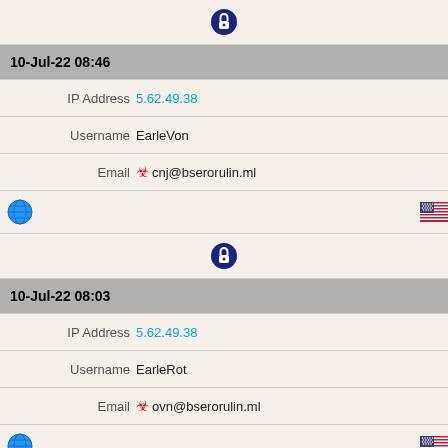[Figure (infographic): Lock icon (navy circle with white padlock)]
10-Jul-22 08:46
IP Address  5.62.49.38
Username  EarleVon
Email  cnj@bserorulin.ml
[Figure (infographic): Globe icon and US flag icon]
[Figure (infographic): Lock icon (navy circle with white padlock)]
10-Jul-22 08:03
IP Address  5.62.49.38
Username  EarleRot
Email  ovn@bserorulin.ml
[Figure (infographic): Globe icon and US flag icon]
[Figure (infographic): Lock icon (navy circle with white padlock)]
10-Jul-22 08:03
IP Address  5.62.49.38
Username  EarleRot
Email  ovn@bserorulin.ml